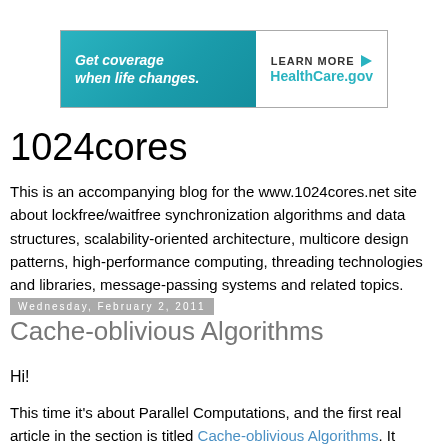[Figure (other): HealthCare.gov advertisement banner with teal gradient background. Left side reads 'Get coverage when life changes.' in white italic bold text. Right side has white background with 'LEARN MORE' in dark text with play icon, and 'HealthCare.gov' in teal below.]
1024cores
This is an accompanying blog for the www.1024cores.net site about lockfree/waitfree synchronization algorithms and data structures, scalability-oriented architecture, multicore design patterns, high-performance computing, threading technologies and libraries, message-passing systems and related topics.
Wednesday, February 2, 2011
Cache-oblivious Algorithms
Hi!
This time it's about Parallel Computations, and the first real article in the section is titled Cache-oblivious Algorithms. It